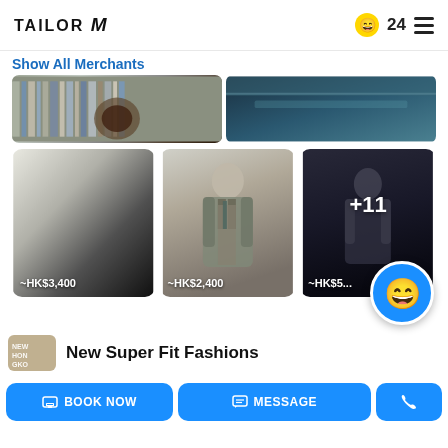TAILOR M  😄 24  ≡
Show All Merchants
[Figure (photo): Two merchant store images side by side - left shows fabric rolls/suits in a shop, right shows a modern interior]
[Figure (photo): Three suit product cards with prices: ~HK$3,400 (left, dark gradient), ~HK$2,400 (center, man in grey suit), ~HK$5xx (right, man in dark suit with +11 overlay). Floating blue emoji button bottom right.]
New Super Fit Fashions
BOOK NOW
MESSAGE
📞